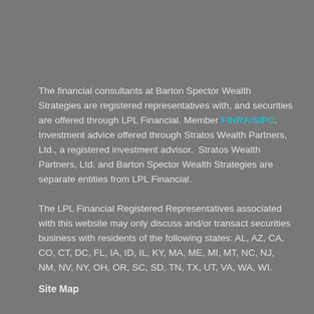The financial consultants at Barton Spector Wealth Strategies are registered representatives with, and securities are offered through LPL Financial. Member FINRA/SIPC.  Investment advice offered through Stratos Wealth Partners, Ltd., a registered investment advisor.  Stratos Wealth Partners, Ltd. and Barton Spector Wealth Strategies are separate entities from LPL Financial.
The LPL Financial Registered Representatives associated with this website may only discuss and/or transact securities business with residents of the following states: AL, AZ, CA, CO, CT, DC, FL, IA, ID, IL, KY, MA, ME, MI, MT, NC, NJ, NM, NV, NY, OH, OR, SC, SD, TN, TX, UT, VA, WA, WI.
Site Map